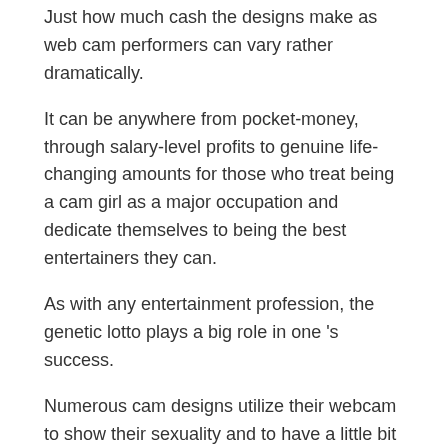Just how much cash the designs make as web cam performers can vary rather dramatically.
It can be anywhere from pocket-money, through salary-level profits to genuine life-changing amounts for those who treat being a cam girl as a major occupation and dedicate themselves to being the best entertainers they can.
As with any entertainment profession, the genetic lotto plays a big role in one 's success.
Numerous cam designs utilize their webcam to show their sexuality and to have a little bit of enjoyable.
They likewise offer a service, which is the capability to be watched over while they masturbate themselves or see other individuals masturbating.
It can be an efficient method to make some money.